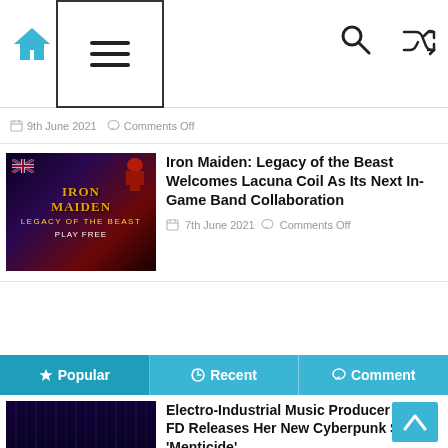Navigation bar with home icon, hamburger menu, search icon, shuffle icon
9th June 2021  Comments Off
Iron Maiden: Legacy of the Beast Welcomes Lacuna Coil As Its Next In-Game Band Collaboration
7th June 2021  Comments Off
Popular  Recent  Comment
Electro-Industrial Music Producer Miss FD Releases Her New Cyberpunk Single, 'Menticide'
24th August 2022  Comments Off
Insomniac Selects Communities In Schools of Southern Nevada as the Beneficiary of the 5th Annual EDC Las...